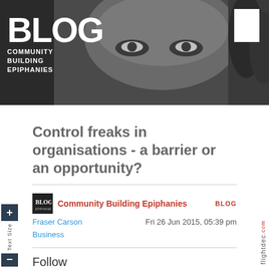[Figure (photo): Black and white close-up photo of a man's face (eyes and forehead) used as blog header banner with BLOG COMMUNITY BUILDING EPIPHANIES text overlay]
Control freaks in organisations - a barrier or an opportunity?
Community Building Epiphanies
Fraser Carson
Fri 26 Jun 2015, 05:39 pm
Business
Follow